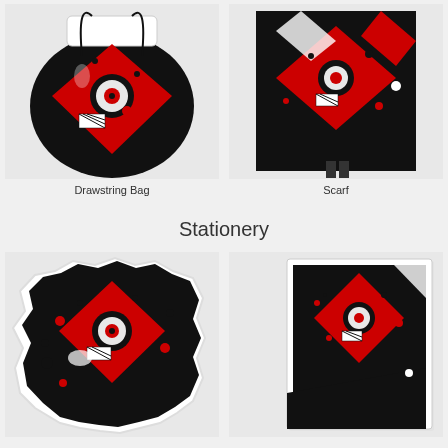[Figure (photo): Drawstring bag product photo with abstract red, black and white geometric pattern featuring dots, circles, and diamond shapes]
Drawstring Bag
[Figure (photo): Scarf product photo with abstract red, black and white geometric pattern featuring dots, circles, and diamond shapes]
Scarf
Stationery
[Figure (photo): Sticker product with abstract red, black and white geometric pattern featuring dots, circles, and diamond shapes with sticker-cut white border]
[Figure (photo): Greeting card or notebook product with abstract red, black and white geometric pattern, shown at angle on white card stock]